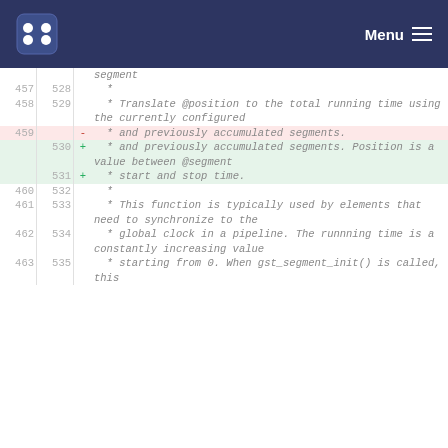Menu
| old | new | sym | code |
| --- | --- | --- | --- |
|  |  |  | segment |
| 457 | 528 |  | * |
| 458 | 529 |  | * Translate @position to the total running time using the currently configured |
| 459 |  | - | * and previously accumulated segments. |
|  | 530 | + | * and previously accumulated segments. Position is a value between @segment |
|  | 531 | + | * start and stop time. |
| 460 | 532 |  | * |
| 461 | 533 |  | * This function is typically used by elements that need to synchronize to the |
| 462 | 534 |  | * global clock in a pipeline. The runnning time is a constantly increasing value |
| 463 | 535 |  | * starting from 0. When gst_segment_init() is called, this |